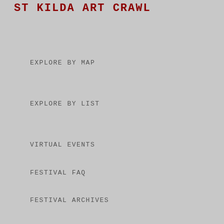ST KILDA ART CRAWL
EXPLORE BY MAP
EXPLORE BY LIST
VIRTUAL EVENTS
FESTIVAL FAQ
FESTIVAL ARCHIVES
ST KILDA ART TOURISM ASSOCIATION INC
ST KILDA ART TOURISM ASSOC. HOME
ST KILDA WRITERS FESTIVAL     ST KILDA ART CRAWL